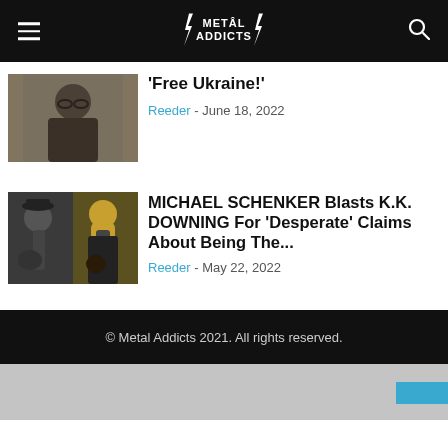Metal Addicts
'Free Ukraine!'
Reeder - June 18, 2022
MICHAEL SCHENKER Blasts K.K. DOWNING For 'Desperate' Claims About Being The...
Reeder - May 22, 2022
© Metal Addicts 2021. All rights reserved.